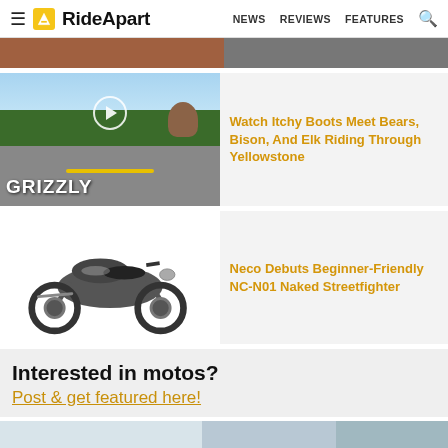RideApart — NEWS  REVIEWS  FEATURES
[Figure (photo): Partial cropped image at top of page, cut off]
[Figure (photo): Video thumbnail showing a grizzly bear on a road in Yellowstone with text GRIZZLY and a play button overlay]
Watch Itchy Boots Meet Bears, Bison, And Elk Riding Through Yellowstone
[Figure (photo): Neco NC-N01 Naked Streetfighter motorcycle on white background]
Neco Debuts Beginner-Friendly NC-N01 Naked Streetfighter
Interested in motos?
Post & get featured here!
[Figure (photo): Partially cropped image at bottom of page]